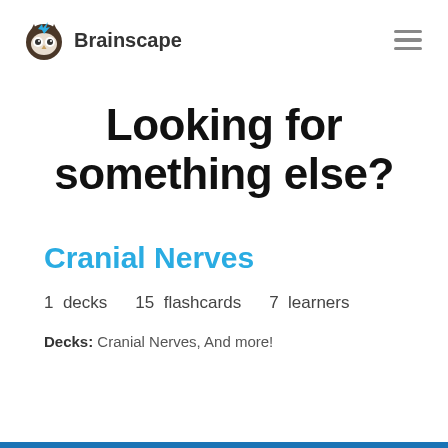Brainscape
Looking for something else?
Cranial Nerves
1 decks   15 flashcards   7 learners
Decks: Cranial Nerves, And more!